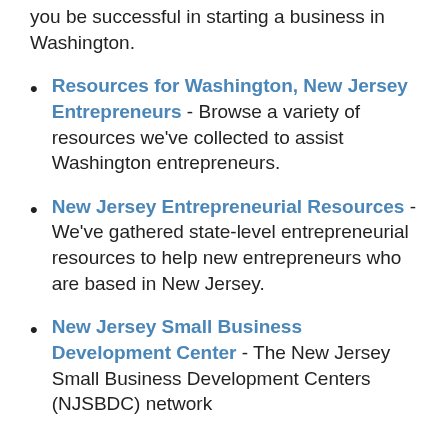you be successful in starting a business in Washington.
Resources for Washington, New Jersey Entrepreneurs - Browse a variety of resources we've collected to assist Washington entrepreneurs.
New Jersey Entrepreneurial Resources - We've gathered state-level entrepreneurial resources to help new entrepreneurs who are based in New Jersey.
New Jersey Small Business Development Center - The New Jersey Small Business Development Centers (NJSBDC) network